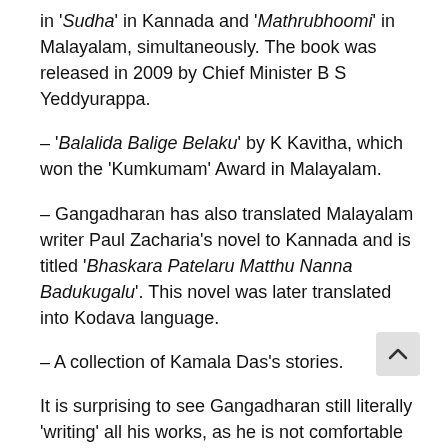in 'Sudha' in Kannada and 'Mathrubhoomi' in Malayalam, simultaneously. The book was released in 2009 by Chief Minister B S Yeddyurappa.
– 'Balalida Balige Belaku' by K Kavitha, which won the 'Kumkumam' Award in Malayalam.
– Gangadharan has also translated Malayalam writer Paul Zacharia's novel to Kannada and is titled 'Bhaskara Patelaru Matthu Nanna Badukugalu'. This novel was later translated into Kodava language.
– A collection of Kamala Das's stories.
It is surprising to see Gangadharan still literally 'writing' all his works, as he is not comfortable with computers. He can be contacted at 9945976401.
– 'Nirgamana' of Sudhakaran Ramanthali, which won the